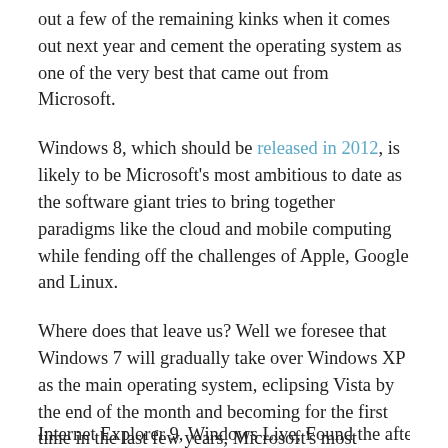out a few of the remaining kinks when it comes out next year and cement the operating system as one of the very best that came out from Microsoft.
Windows 8, which should be released in 2012, is likely to be Microsoft's most ambitious to date as the software giant tries to bring together paradigms like the cloud and mobile computing while fending off the challenges of Apple, Google and Linux.
Where does that leave us? Well we foresee that Windows 7 will gradually take over Windows XP as the main operating system, eclipsing Vista by the end of the month and becoming for the first time in the last few years, Microsoft's most popular OS is its latest one as well.
Internet Explorer 9, Windows Live, Found the after f...